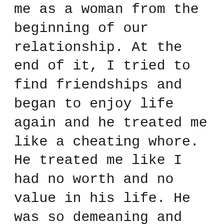me as a woman from the beginning of our relationship. At the end of it, I tried to find friendships and began to enjoy life again and he treated me like a cheating whore. He treated me like I had no worth and no value in his life. He was so demeaning and cold when I had a mental breakdown and he hurt me and punished me in the most humiliating way. He finally accepted he was
Codependent but didn't follow through with treatment and I let him control all our time together. When I finally began to break free, he began to spy on me, guilt me for having friends. I'm so dead inside and I have no idea who I am. My friends say I am nothing like who I used to be. I was a free spirit and now I